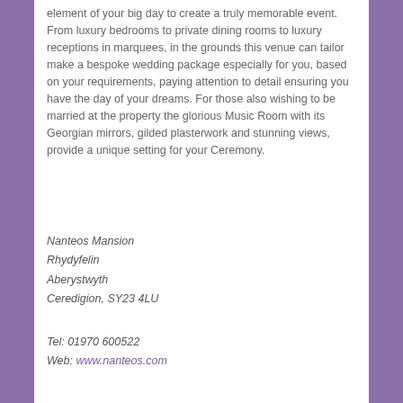element of your big day to create a truly memorable event. From luxury bedrooms to private dining rooms to luxury receptions in marquees, in the grounds this venue can tailor make a bespoke wedding package especially for you, based on your requirements, paying attention to detail ensuring you have the day of your dreams. For those also wishing to be married at the property the glorious Music Room with its Georgian mirrors, gilded plasterwork and stunning views, provide a unique setting for your Ceremony.
Nanteos Mansion
Rhydyfelin
Aberystwyth
Ceredigion, SY23 4LU
Tel: 01970 600522
Web: www.nanteos.com